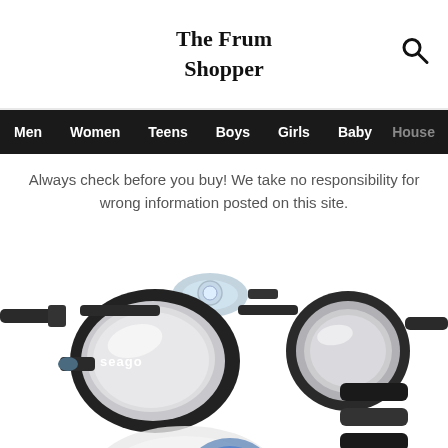The Frum Shopper
Men  Women  Teens  Boys  Girls  Baby  House
Always check before you buy! We take no responsibility for wrong information posted on this site.
[Figure (photo): Product photo of Seago brand swim goggles with clear lenses and black frame/strap, plus separate nose bridge pieces shown to the right. A second pair of goggles partially visible at the bottom.]